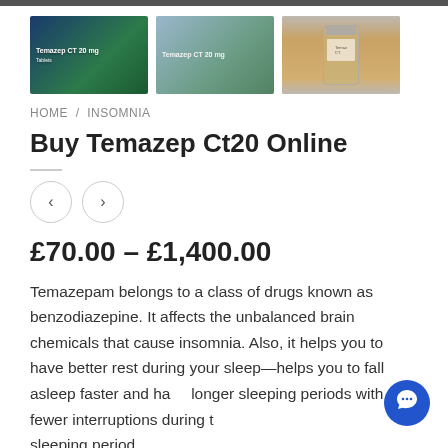[Figure (photo): Three product images of Temazep CT20: left shows blue/green medication box, center shows similar box faded, right shows a hand holding an amber medicine bottle]
HOME / INSOMNIA
Buy Temazep Ct20 Online
£70.00 – £1,400.00
Temazepam belongs to a class of drugs known as benzodiazepine. It affects the unbalanced brain chemicals that cause insomnia. Also, it helps you to have better rest during your sleep—helps you to fall asleep faster and have longer sleeping periods with fewer interruptions during the sleeping period.